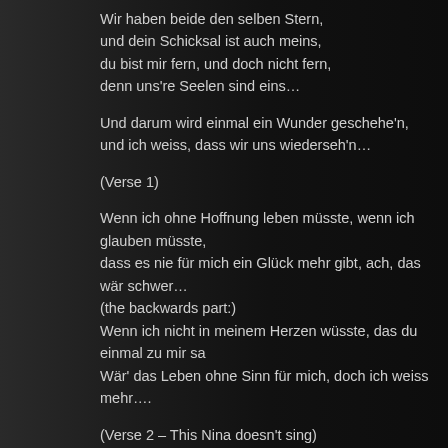Wir haben beide den selben Stern,
und dein Schicksal ist auch meins,
du bist mir fern, und doch nicht fern,
denn uns're Seelen sind eins…
Und darum wird einmal ein Wunder geschehe'n,
und ich weiss, dass wir uns wiederseh'n…
(Verse 1)
Wenn ich ohne Hoffnung leben müsste, wenn ich glauben müsste,
dass es nie für mich ein Glück mehr gibt, ach, das wär schwer…
(the backwards part:)
Wenn ich nicht in meinem Herzen wüsste, das du einmal zu mir sa
Wär' das Leben ohne Sinn für mich, doch ich weiss mehr….
(Verse 2 – This Nina doesn't sing)
Keinem ist mein Herz so gut gewesen, wie dem Einen, der mich je
der für mich nicht einen Gruss mehr hat, der mich vergass….
Könnt'er jetz in meinen Augen lesen, war ich fühle, dann würd'all